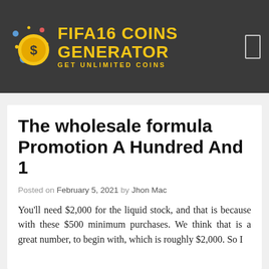FIFA16 COINS GENERATOR — GET UNLIMITED COINS
The wholesale formula Promotion A Hundred And 1
Posted on February 5, 2021 by Jhon Mac
You'll need $2,000 for the liquid stock, and that is because with these $500 minimum purchases. We think that is a great number, to begin with, which is roughly $2,000. So I